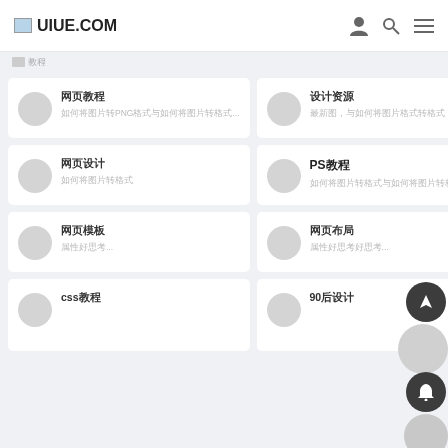UIUE.COM
首页 教程
网页教程 如何将图片转PNG格式与如何将图片转格式...
设计资源 如何将图片转格式...
网页设计 如何将图片转到...
PS教程 如何将图片转格式与如何将图片转格式...
网页模板 属性好思考...
网页布局 属性好思考...
css教程
90后设计